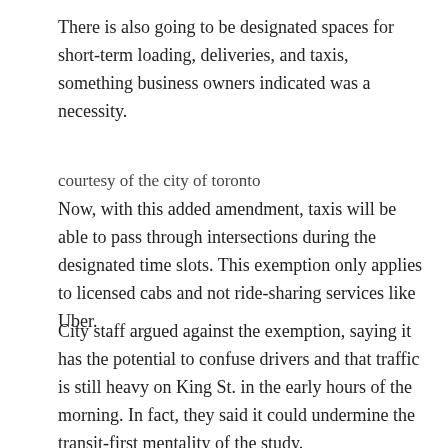There is also going to be designated spaces for short-term loading, deliveries, and taxis, something business owners indicated was a necessity.
courtesy of the city of toronto
Now, with this added amendment, taxis will be able to pass through intersections during the designated time slots. This exemption only applies to licensed cabs and not ride-sharing services like Uber.
City staff argued against the exemption, saying it has the potential to confuse drivers and that traffic is still heavy on King St. in the early hours of the morning. In fact, they said it could undermine the transit-first mentality of the study.
Regardless of the warnings, council choose to adopt the exemption anyway (although they limited the hours to the evening/early morning) to help relieve the nightlife crowding along the corridor.